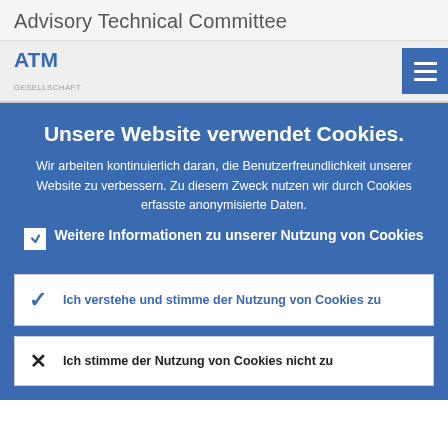Advisory Technical Committee
ATM
Unsere Website verwendet Cookies.
Wir arbeiten kontinuierlich daran, die Benutzerfreundlichkeit unserer Website zu verbessern. Zu diesem Zweck nutzen wir durch Cookies erfasste anonymisierte Daten.
Weitere Informationen zu unserer Nutzung von Cookies
Ich verstehe und stimme der Nutzung von Cookies zu
Ich stimme der Nutzung von Cookies nicht zu